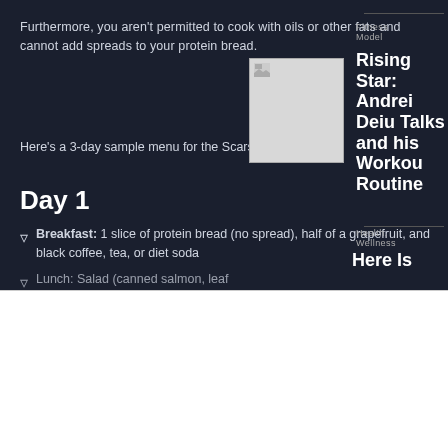Furthermore, you aren't permitted to cook with oils or other fats and cannot add spreads to your protein bread.
Here's a 3-day sample menu for the Scarsdale diet:
Day 1
Breakfast: 1 slice of protein bread (no spread), half of a grapefruit, and black coffee, tea, or diet soda
Lunch: Salad (canned salmon, leaf...
[Figure (photo): Small placeholder image thumbnail]
Fitness Model
Rising Star: Andrei Deiu Talks and his Workout Routine
Health, Wellness
Here Is
Download FitOlympia App
Fit and Grow with FitOlympia Are You Tired of Being Trying?
Go to Playstore